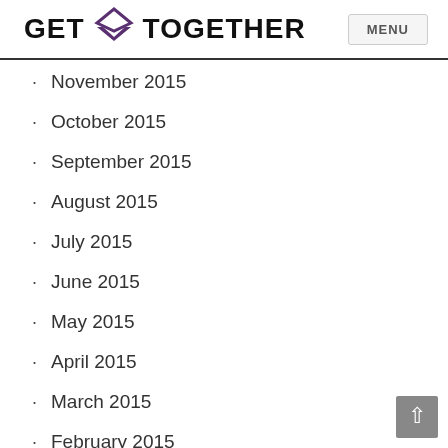GET TOGETHER | MENU
November 2015
October 2015
September 2015
August 2015
July 2015
June 2015
May 2015
April 2015
March 2015
February 2015
January 2015
December 2014